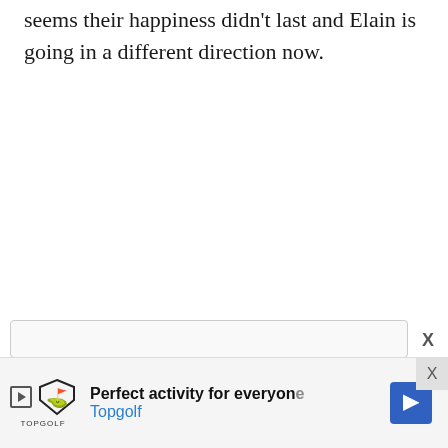seems their happiness didn't last and Elain is going in a different direction now.
[Figure (screenshot): Advertisement bar for Topgolf with logo, headline 'Perfect activity for everyone', Topgolf brand name, play button icon, blue navigation arrow, and close X button.]